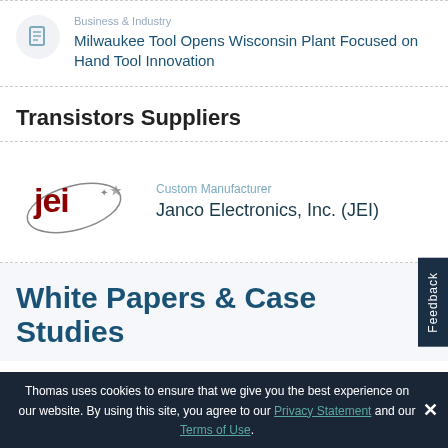[Figure (other): Document/article icon in a gray circle]
Business & Industry
Milwaukee Tool Opens Wisconsin Plant Focused on Hand Tool Innovation
Transistors Suppliers
[Figure (logo): JEI (Janco Electronics, Inc.) logo with orbital ellipse and star element]
Custom Manufacturer
Janco Electronics, Inc. (JEI)
White Papers & Case Studies
Thomas uses cookies to ensure that we give you the best experience on our website. By using this site, you agree to our Privacy Statement and our Terms of Use.